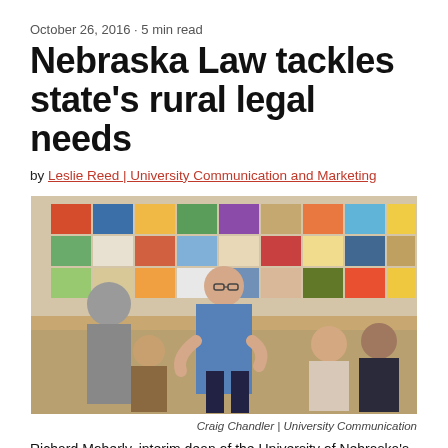October 26, 2016 · 5 min read
Nebraska Law tackles state's rural legal needs
by Leslie Reed | University Communication and Marketing
[Figure (photo): Richard Moberly, interim dean of the University of Nebraska's law college, talks with students in McCollum Hall, standing in front of a colorful tiled wall art display.]
Craig Chandler | University Communication
Richard Moberly, interim dean of the University of Nebraska's law college, talks with students in McCollum Hall. The college is